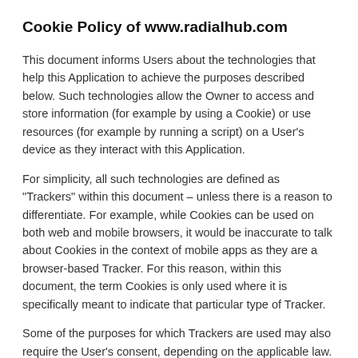Cookie Policy of www.radialhub.com
This document informs Users about the technologies that help this Application to achieve the purposes described below. Such technologies allow the Owner to access and store information (for example by using a Cookie) or use resources (for example by running a script) on a User's device as they interact with this Application.
For simplicity, all such technologies are defined as "Trackers" within this document – unless there is a reason to differentiate. For example, while Cookies can be used on both web and mobile browsers, it would be inaccurate to talk about Cookies in the context of mobile apps as they are a browser-based Tracker. For this reason, within this document, the term Cookies is only used where it is specifically meant to indicate that particular type of Tracker.
Some of the purposes for which Trackers are used may also require the User's consent, depending on the applicable law.